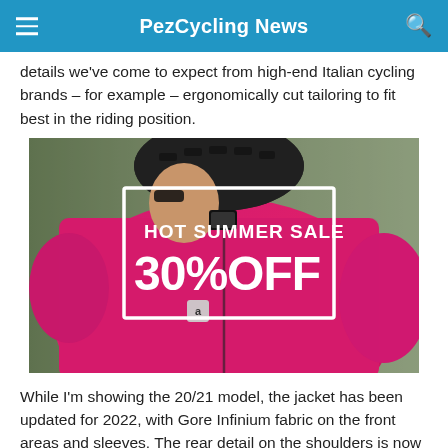PezCycling News
details we've come to expect from high-end Italian cycling brands – for example – ergonomically cut tailoring to fit best in the riding position.
[Figure (photo): Advertisement banner showing a cyclist wearing a pink/magenta cycling jersey with text 'HOT SUMMER SALE 30% OFF' overlaid in a white rectangular border]
While I'm showing the 20/21 model, the jacket has been updated for 2022, with Gore Infinium fabric on the front areas and sleeves. The rear detail on the shoulders is now a double,